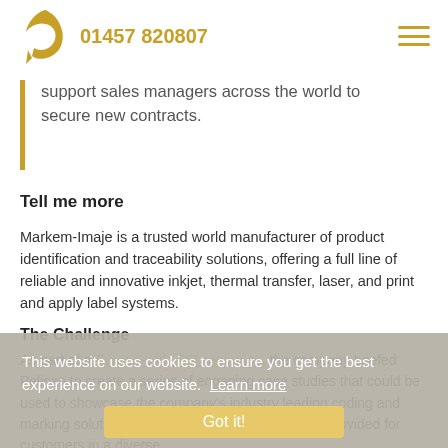01457 820807
support sales managers across the world to secure new contracts.
Tell me more
Markem-Imaje is a trusted world manufacturer of product identification and traceability solutions, offering a full line of reliable and innovative inkjet, thermal transfer, laser, and print and apply label systems.
The Challenge
As part of a Europe-wide PR campaign, the company briefed Pelican to create a series of engaging case studies that could be used to showcase the company's industry leading coding and marking solutions as well as the bespoke service provided for customers in a diverse